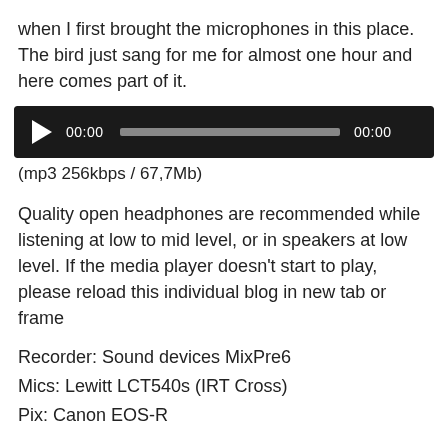when I first brought the microphones in this place. The bird just sang for me for almost one hour and here comes part of it.
[Figure (other): Audio player widget with black background, play button, progress bar, and time display showing 00:00 on both sides.]
(mp3 256kbps / 67,7Mb)
Quality open headphones are recommended while listening at low to mid level, or in speakers at low level. If the media player doesn't start to play, please reload this individual blog in new tab or frame
Recorder: Sound devices MixPre6
Mics: Lewitt LCT540s (IRT Cross)
Pix: Canon EOS-R
Weather:  Calm to 5m/sek, clear sky, 3 to 7°C